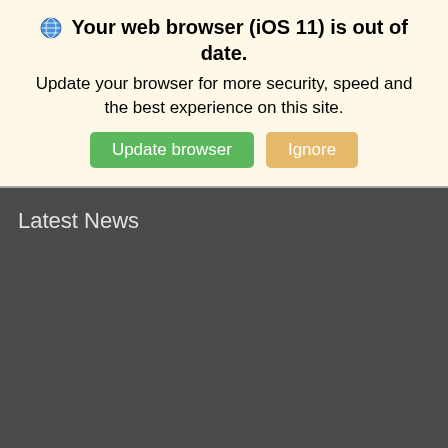🌐 Your web browser (iOS 11) is out of date. Update your browser for more security, speed and the best experience on this site.
Update browser | Ignore
Latest News